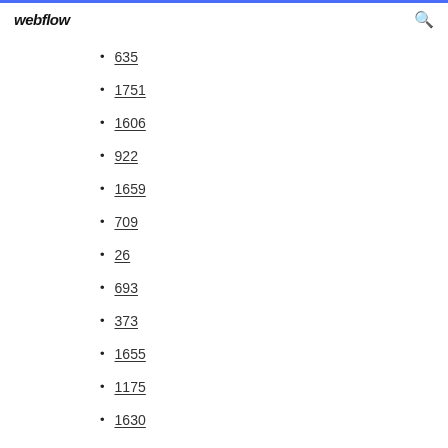webflow
635
1751
1606
922
1659
709
26
693
373
1655
1175
1630